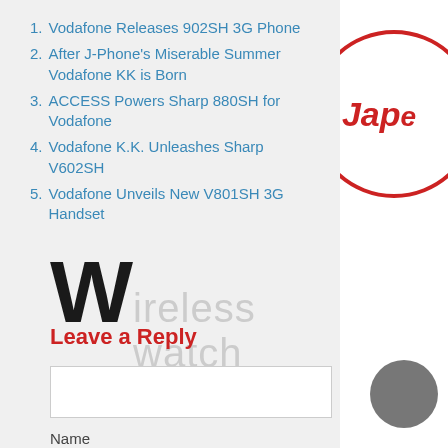Vodafone Releases 902SH 3G Phone
After J-Phone's Miserable Summer Vodafone KK is Born
ACCESS Powers Sharp 880SH for Vodafone
Vodafone K.K. Unleashes Sharp V602SH
Vodafone Unveils New V801SH 3G Handset
Leave a Reply
Name
Email
[Figure (logo): Wireless Watch Japan logo with red circle containing 'Jape' text and large W watermark]